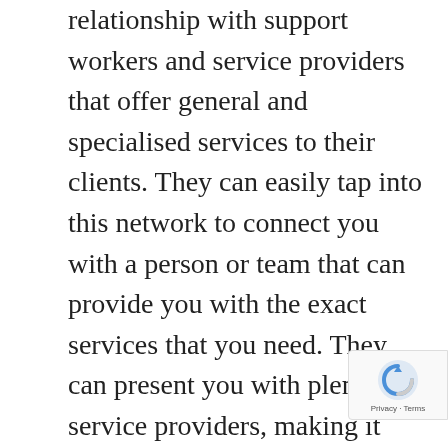relationship with support workers and service providers that offer general and specialised services to their clients. They can easily tap into this network to connect you with a person or team that can provide you with the exact services that you need. They can present you with plenty of service providers, making it much easier for you to find professionals who understand your goals and how to best support you in achieving them.

To determine if a prospective NDIS plan manager's roster of services and supported plans are aligned with yours, it's always a good idea to check the said plan manager's website. There, you'll likely see all the plans that they